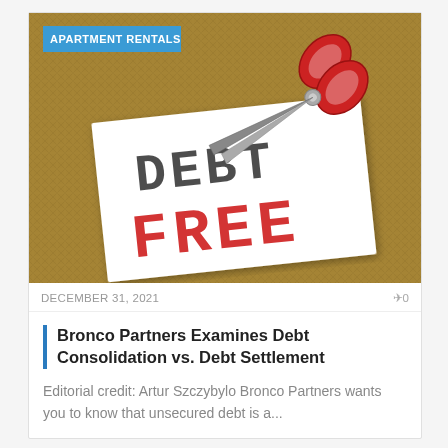[Figure (photo): Photo of a white card with 'DEBT FREE' text, 'DEBT' in black stamp font and 'FREE' in red stamp font, placed on burlap fabric background with red-handled scissors partially cutting into the card. A blue badge with 'APARTMENT RENTALS' text overlaid in top-left corner.]
DECEMBER 31, 2021
0
Bronco Partners Examines Debt Consolidation vs. Debt Settlement
Editorial credit: Artur Szczybylo Bronco Partners wants you to know that unsecured debt is a...